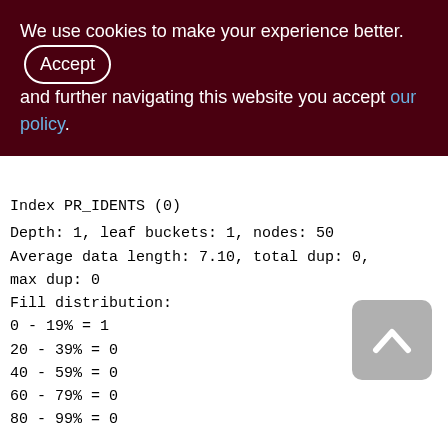We use cookies to make your experience better. By accepting and further navigating this website you accept our policy.
Index PR_IDENTS (0)
Depth: 1, leaf buckets: 1, nodes: 50
Average data length: 7.10, total dup: 0, max dup: 0
Fill distribution:
0 - 19% = 1
20 - 39% = 0
40 - 59% = 0
60 - 79% = 0
80 - 99% = 0
BUSINESS_OPS (158)
Primary pointer page: 280, Index root page: